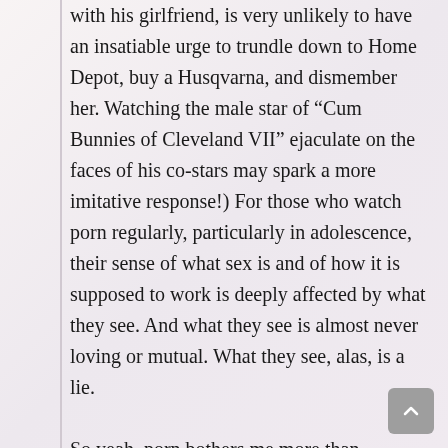with his girlfriend, is very unlikely to have an insatiable urge to trundle down to Home Depot, buy a Husqvarna, and dismember her. Watching the male star of “Cum Bunnies of Cleveland VII” ejaculate on the faces of his co-stars may spark a more imitative response!) For those who watch porn regularly, particularly in adolescence, their sense of what sex is and of how it is supposed to work is deeply affected by what they see. And what they see is almost never loving or mutual. What they see, alas, is a lie.

So yeah, porn bothers me more than violence. And while watching a horror